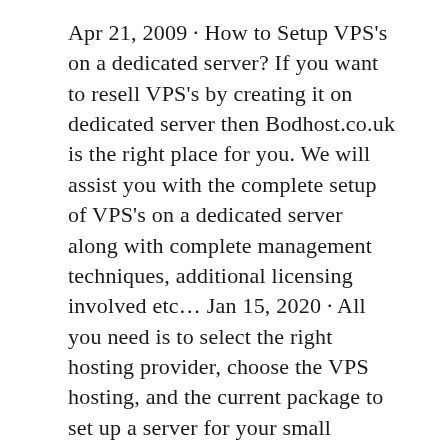Apr 21, 2009 · How to Setup VPS's on a dedicated server? If you want to resell VPS's by creating it on dedicated server then Bodhost.co.uk is the right place for you. We will assist you with the complete setup of VPS's on a dedicated server along with complete management techniques, additional licensing involved etc… Jan 15, 2020 · All you need is to select the right hosting provider, choose the VPS hosting, and the current package to set up a server for your small business. This is expandable and can be expanded as per the need. VPS Server price. There is a wide range of price for VPS servers, it depends on server specification and quality. In that list, currently setting VPS on a dedicated server is a popular trend and it highly attracted the webmasters. Here in this artilcle we are going to discuss about setting VPS on a dedicated server. What is Dedicated Hosting? A dedicated web hosting service means that your website will be hosted on a server belongs only to you. Oct 31, 2015 · VPS Server:- Part 3 In this video tutorial you are going to learn How to setup and Access the